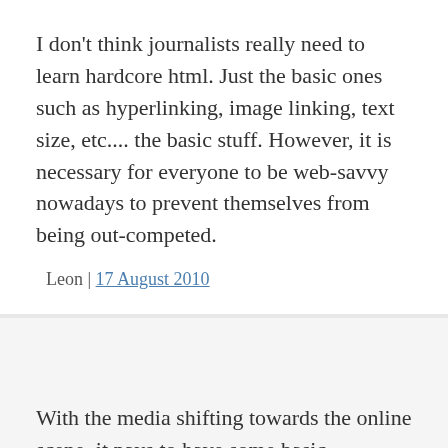I don't think journalists really need to learn hardcore html. Just the basic ones such as hyperlinking, image linking, text size, etc.... the basic stuff. However, it is necessary for everyone to be web-savvy nowadays to prevent themselves from being out-competed.
Leon | 17 August 2010
With the media shifting towards the online scene, it pays to have some basic programming skills.